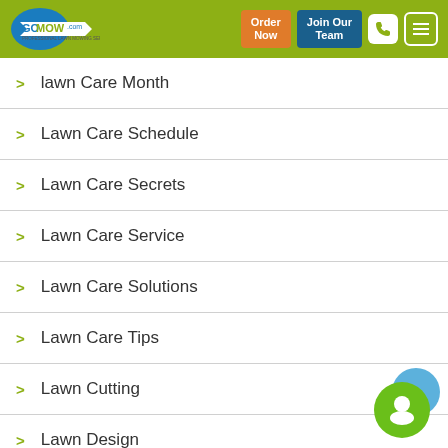GoMow.com — Order Now | Join Our Team
lawn Care Month
Lawn Care Schedule
Lawn Care Secrets
Lawn Care Service
Lawn Care Solutions
Lawn Care Tips
Lawn Cutting
Lawn Design
[Figure (illustration): Green and blue circular chat widget in bottom-right corner]